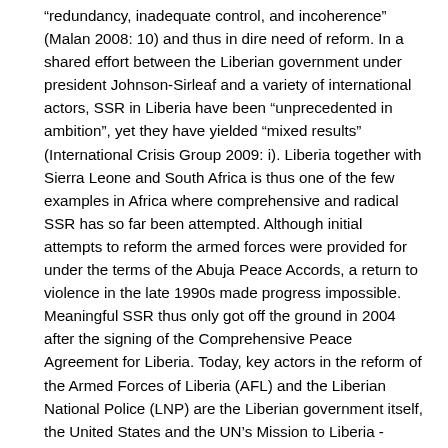“redundancy, inadequate control, and incoherence” (Malan 2008: 10) and thus in dire need of reform. In a shared effort between the Liberian government under president Johnson-Sirleaf and a variety of international actors, SSR in Liberia have been “unprecedented in ambition”, yet they have yielded “mixed results” (International Crisis Group 2009: i). Liberia together with Sierra Leone and South Africa is thus one of the few examples in Africa where comprehensive and radical SSR has so far been attempted. Although initial attempts to reform the armed forces were provided for under the terms of the Abuja Peace Accords, a return to violence in the late 1990s made progress impossible. Meaningful SSR thus only got off the ground in 2004 after the signing of the Comprehensive Peace Agreement for Liberia. Today, key actors in the reform of the Armed Forces of Liberia (AFL) and the Liberian National Police (LNP) are the Liberian government itself, the United States and the UN’s Mission to Liberia - UNMIL.